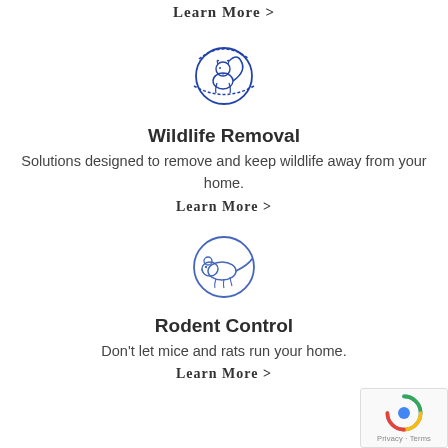Learn More >
[Figure (illustration): Blue circular icon with a squirrel inside, decorative lines around the circle]
Wildlife Removal
Solutions designed to remove and keep wildlife away from your home.
Learn More >
[Figure (illustration): Blue circular icon with a mouse/rat inside]
Rodent Control
Don't let mice and rats run your home.
Learn More >
[Figure (illustration): Partial circular icon at bottom, cut off]